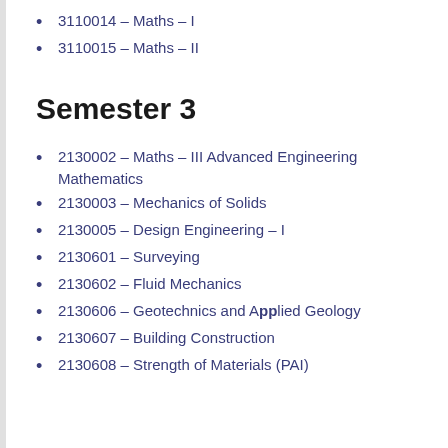3110014 – Maths – I
3110015 – Maths – II
Semester 3
2130002 – Maths – III Advanced Engineering Mathematics
2130003 – Mechanics of Solids
2130005 – Design Engineering – I
2130601 – Surveying
2130602 – Fluid Mechanics
2130606 – Geotechnics and Applied Geology
2130607 – Building Construction
2130608 – Strength of Materials (PAI)